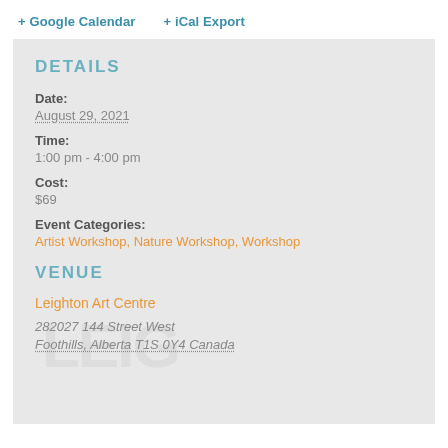+ Google Calendar  + iCal Export
DETAILS
Date:
August 29, 2021
Time:
1:00 pm - 4:00 pm
Cost:
$69
Event Categories:
Artist Workshop, Nature Workshop, Workshop
VENUE
Leighton Art Centre
282027 144 Street West
Foothills, Alberta T1S 0Y4 Canada